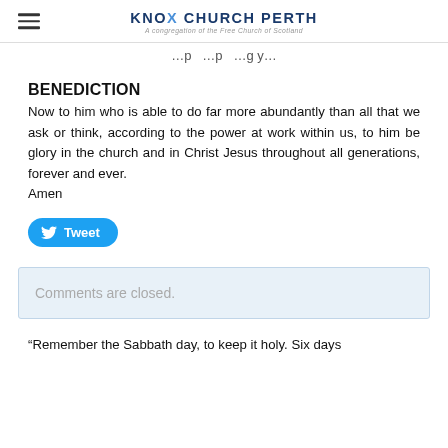KNOX CHURCH PERTH — A congregation of the Free Church of Scotland
…p …p …g y…
BENEDICTION
Now to him who is able to do far more abundantly than all that we ask or think, according to the power at work within us, to him be glory in the church and in Christ Jesus throughout all generations, forever and ever.
Amen
[Figure (other): Tweet button (Twitter/X share button)]
Comments are closed.
“Remember the Sabbath day, to keep it holy. Six days